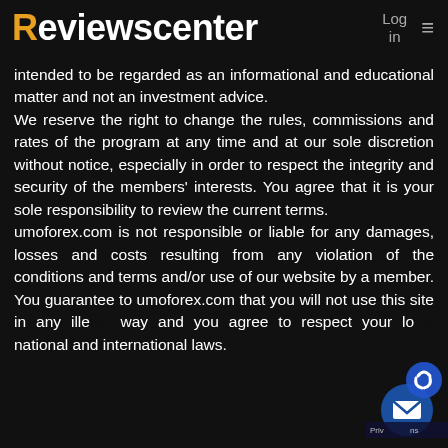Reviewscenter  Log in  ≡
intended to be regarded as an informational and educational matter and not an investment advice. We reserve the right to change the rules, commissions and rates of the program at any time and at our sole discretion without notice, especially in order to respect the integrity and security of the members' interests. You agree that it is your sole responsibility to review the current terms. umoforex.com is not responsible or liable for any damages, losses and costs resulting from any violation of the conditions and terms and/or use of our website by a member. You guarantee to umoforex.com that you will not use this site in any illegal way and you agree to respect your local national and international laws.